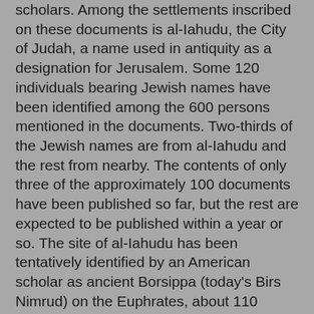scholars. Among the settlements inscribed on these documents is al-Iahudu, the City of Judah, a name used in antiquity as a designation for Jerusalem. Some 120 individuals bearing Jewish names have been identified among the 600 persons mentioned in the documents. Two-thirds of the Jewish names are from al-Iahudu and the rest from nearby. The contents of only three of the approximately 100 documents have been published so far, but the rest are expected to be published within a year or so. The site of al-Iahudu has been tentatively identified by an American scholar as ancient Borsippa (today's Birs Nimrud) on the Euphrates, about 110 kilometers southwest of Baghdad.
THE MOST dramatic evidence of the communal cohesion maintained by the Jewish exiles in Babylon is the way those who returned to Zion organized themselves. (It is not clear what percentage of the exiles chose to return to Judah after Babylon fell to the Persians and what percentage chose to remain.) Those whose families had been associated with the Jerusalem temple before the exile now identified themselves once more as priests, singers, gatekeepers and temple servants in anticipation of the rebuilding of the temple, as described in the books of Ezra and Nehemiah. Others